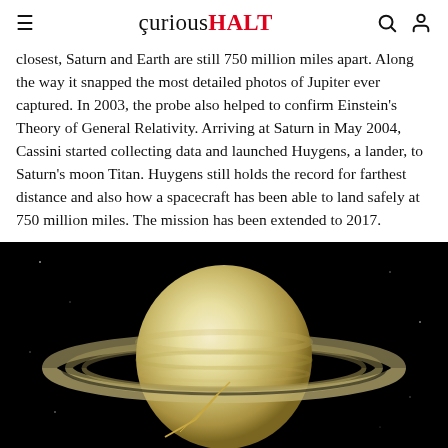curiousHALT
closest, Saturn and Earth are still 750 million miles apart. Along the way it snapped the most detailed photos of Jupiter ever captured. In 2003, the probe also helped to confirm Einstein's Theory of General Relativity. Arriving at Saturn in May 2004, Cassini started collecting data and launched Huygens, a lander, to Saturn's moon Titan. Huygens still holds the record for farthest distance and also how a spacecraft has been able to land safely at 750 million miles. The mission has been extended to 2017.
[Figure (photo): Illustration of Saturn with its rings and the Cassini spacecraft approaching, set against a black space background.]